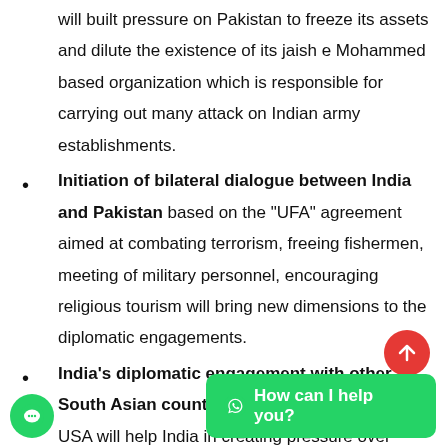will built pressure on Pakistan to freeze its assets and dilute the existence of its jaish e Mohammed based organization which is responsible for carrying out many attack on Indian army establishments.
Initiation of bilateral dialogue between India and Pakistan based on the “UFA” agreement aimed at combating terrorism, freeing fishermen, meeting of military personnel, encouraging religious tourism will bring new dimensions to the diplomatic engagements.
India’s diplomatic engagement with other South Asian countries and Western powers like USA will help India in creating pressure over Pakistan, for curbing its funding to terrorist activities influence of non-state actors in its politics, as both